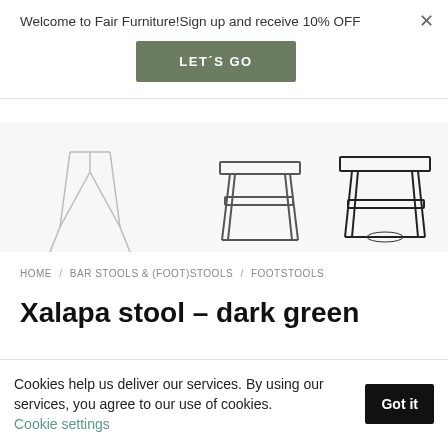Welcome to Fair Furniture!Sign up and receive 10% OFF
LET´S GO
[Figure (photo): Product image strip showing wire/metal stools on white background]
HOME / BAR STOOLS & (FOOT)STOOLS / FOOTSTOOLS
Xalapa stool – dark green
€155,-
Cookies help us deliver our services. By using our services, you agree to our use of cookies. Cookie settings Got it